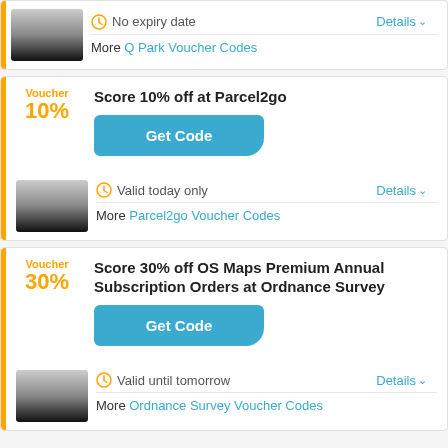No expiry date
More Q Park Voucher Codes
Voucher 10%
Score 10% off at Parcel2go
Get Code
Valid today only
Details
More Parcel2go Voucher Codes
Voucher 30%
Score 30% off OS Maps Premium Annual Subscription Orders at Ordnance Survey
Get Code
Valid until tomorrow
Details
More Ordnance Survey Voucher Codes